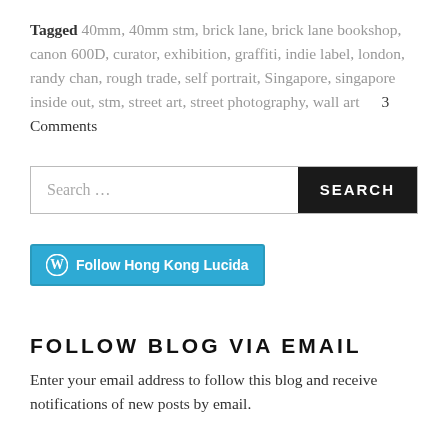Tagged 40mm, 40mm stm, brick lane, brick lane bookshop, canon 600D, curator, exhibition, graffiti, indie label, london, randy chan, rough trade, self portrait, Singapore, singapore inside out, stm, street art, street photography, wall art      3 Comments
[Figure (other): Search bar with text 'Search ...' and a dark button labeled 'SEARCH']
[Figure (other): WordPress 'Follow Hong Kong Lucida' button in blue]
FOLLOW BLOG VIA EMAIL
Enter your email address to follow this blog and receive notifications of new posts by email.